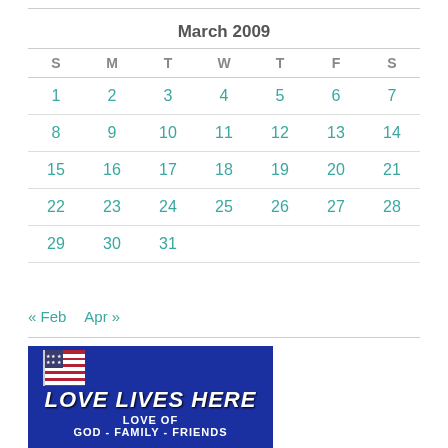| S | M | T | W | T | F | S |
| --- | --- | --- | --- | --- | --- | --- |
| 1 | 2 | 3 | 4 | 5 | 6 | 7 |
| 8 | 9 | 10 | 11 | 12 | 13 | 14 |
| 15 | 16 | 17 | 18 | 19 | 20 | 21 |
| 22 | 23 | 24 | 25 | 26 | 27 | 28 |
| 29 | 30 | 31 |  |  |  |  |
« Feb   Apr »
[Figure (illustration): Blue banner image with American flag and text 'LOVE LIVES HERE LOVE OF GOD - FAMILY - FRIENDS']